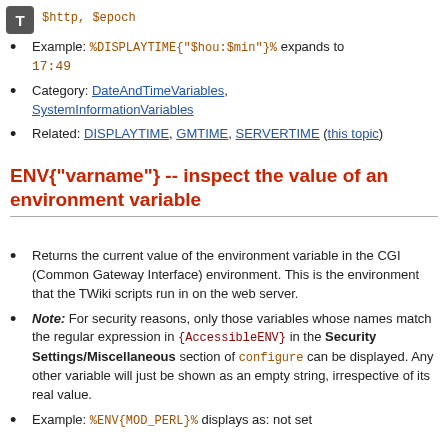$http, $epoch
Example: %DISPLAYTIME{"$hou:$min"}% expands to 17:49
Category: DateAndTimeVariables, SystemInformationVariables
Related: DISPLAYTIME, GMTIME, SERVERTIME (this topic)
ENV{"varname"} -- inspect the value of an environment variable
Returns the current value of the environment variable in the CGI (Common Gateway Interface) environment. This is the environment that the TWiki scripts run in on the web server.
Note: For security reasons, only those variables whose names match the regular expression in {AccessibleENV} in the Security Settings/Miscellaneous section of configure can be displayed. Any other variable will just be shown as an empty string, irrespective of its real value.
Example: %ENV{MOD_PERL}% displays as: not set